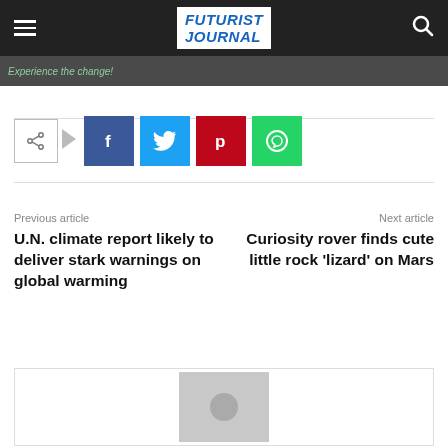Futurist Journal
[Figure (photo): Dark banner strip with text 'Experience the change!']
[Figure (infographic): Social share row with share icon, Facebook, Twitter, Pinterest, WhatsApp buttons]
Previous article
U.N. climate report likely to deliver stark warnings on global warming
Next article
Curiosity rover finds cute little rock 'lizard' on Mars
[Figure (photo): Author avatar placeholder with grey background and circle]